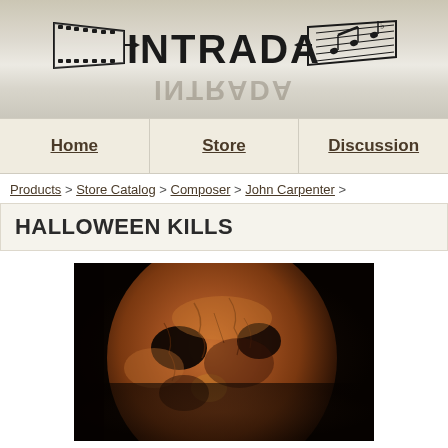[Figure (logo): Intrada Records logo with film strip on left and musical staff on right, bold 'INTRADA' text in center, with reflection below]
Home | Store | Discussion
Products > Store Catalog > Composer > John Carpenter >
HALLOWEEN KILLS
[Figure (photo): Close-up of Michael Myers horror mask with weathered, cracked surface in dark orange/brown tones]